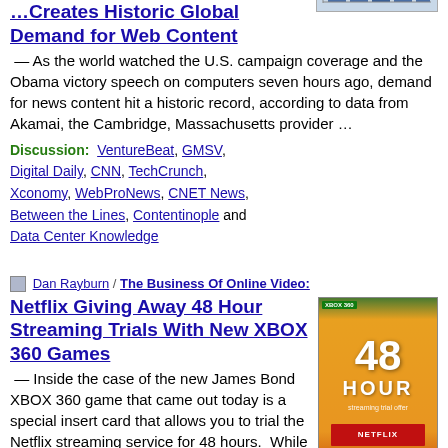... Creates Historic Global Demand for Web Content
— As the world watched the U.S. campaign coverage and the Obama victory speech on computers seven hours ago, demand for news content hit a historic record, according to data from Akamai, the Cambridge, Massachusetts provider …
Discussion: VentureBeat, GMSV, Digital Daily, CNN, TechCrunch, Xconomy, WebProNews, CNET News, Between the Lines, Contentinople and Data Center Knowledge
Dan Rayburn / The Business Of Online Video:
[Figure (photo): Netflix 48 Hour streaming trial card with orange background and XBOX 360 branding]
Netflix Giving Away 48 Hour Streaming Trials With New XBOX 360 Games
— Inside the case of the new James Bond XBOX 360 game that came out today is a special insert card that allows you to trial the Netflix streaming service for 48 hours. While the trial won't officially